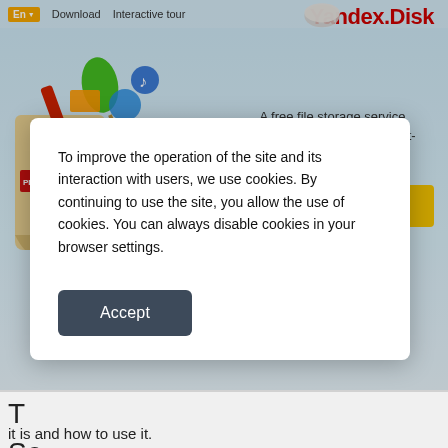[Figure (screenshot): Yandex.Disk website screenshot showing navigation bar with En button, Download and Interactive tour links, Yandex.Disk logo, a colorful folder illustration with files, tagline text, and yellow Log in button on a light blue cloud background]
A free file storage service accessible from any internet-enabled device.
Log in
To improve the operation of the site and its interaction with users, we use cookies. By continuing to use the site, you allow the use of cookies. You can always disable cookies in your browser settings.
Accept
it is and how to use it.